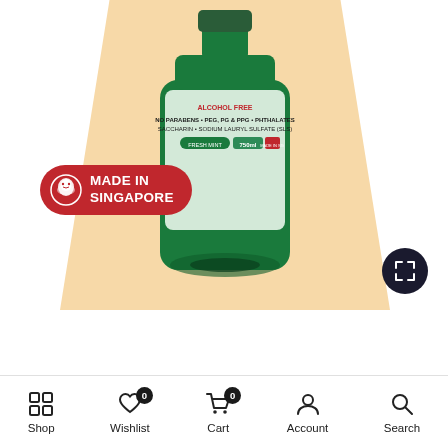[Figure (photo): Product photo of Sensirinze 750ml Fluoride Mouth Rinse green bottle on peach/yellow trapezoidal background, with a 'Made in Singapore' red badge with lion icon at bottom left, and a dark circular expand/fullscreen button at right.]
Sensirinze™ 750ml Fluoride Mouth Rinse for Sensitive Teeth
Shop  Wishlist  Cart  Account  Search